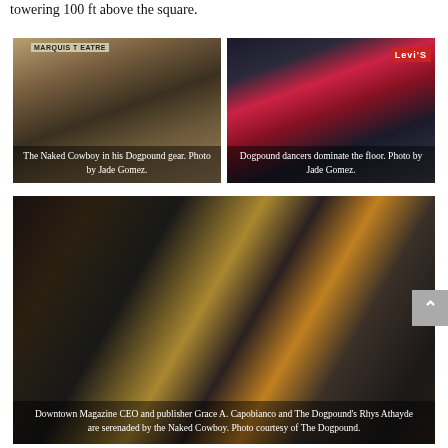towering 100 ft above the square.
[Figure (photo): The Naked Cowboy in Times Square wearing a cowboy hat, in front of the Marquis Theatre sign. Caption: The Naked Cowboy in his Dogpound gear. Photo by Jade Gomez.]
[Figure (photo): Dogpound dancers performing on a stage with a Levi's sign visible in the background. Caption: Dogpound dancers dominate the floor. Photo by Jade Gomez.]
[Figure (photo): Group photo in Times Square at night featuring Downtown Magazine CEO and publisher Grace A. Capobianco and The Dogpound's Rhys Athayde being serenaded by the Naked Cowboy. Photo courtesy of The Dogpound.]